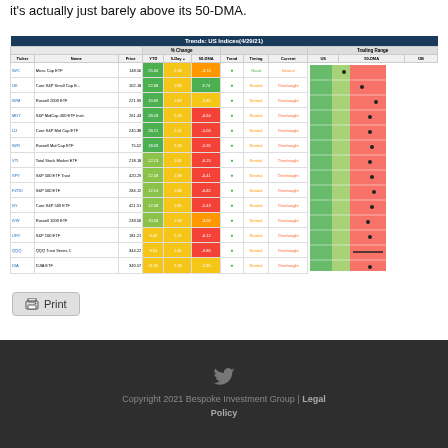it's actually just barely above its 50-DMA.
| Ticker | Name | Price | YTD | 5-Day+ | 50-DMA | Trend | Timing | Current | US | 50-DMA | OB |
| --- | --- | --- | --- | --- | --- | --- | --- | --- | --- | --- | --- |
| IWC | Micro Cap ETF | 148.56 | 25.34 | 2.18 | -3.74 | ● | Good | Neutral |  |  |  |
| IJK | Core S&P Small Cap E... | 102.18 | 22.68 | 1.86 | 3.74 | ● | Neutral | Overbought |  |  |  |
| IWM | Russell 2000 ETF | 221.99 | 19.69 | 1.89 | -2.85 | ● | Neutral | Overbought |  |  |  |
| MDY | S&P MidCap 400 ETF Instr. | 261.43 | 28.18 | 2.24 | -6.64 | ● | Neutral | Overbought |  |  |  |
| IJJ | Core S&P Mid Cap ETF | 245.38 | 28.21 | 2.21 | -5.04 | ● | Neutral | Overbought |  |  |  |
| IWR | Russell Mid Cap ETF | 75.52 | 18.03 | 2.13 | -5.95 | ● | Neutral | Overbought |  |  |  |
| VTI | Total Stock Market ETF | 218.18 | 12.13 | 1.81 | -6.25 | ● | Neutral | Overbought |  |  |  |
| SPY | S&P 500 ETF Trust | 420.29 | 12.18 | 1.98 | -6.41 | ● | Neutral | Overbought |  |  |  |
| FZOU | S&P 500 ETF | 284.12 | 12.14 | 1.88 | -6.82 | ● | Neutral | Overbought |  |  |  |
| NY | Core S&P 500 ETF | 421.51 | 12.58 | 1.85 | -5.43 | ● | Neutral | Overbought |  |  |  |
| IVW | Russell 1000 ETF | 233.56 | 10.56 | 1.94 | -3.50 | ● | Neutral | Overbought |  |  |  |
| URY | S&P 100 ETF | 181.21 | 9.46 | 2.21 | -6.12 | ● | Neutral | Overbought |  |  |  |
| QQQ | QQQ Trust Series 1 | 344.22 | 9.64 | 1.45 | -9.86 | ● | Neutral | Overbought |  |  |  |
| DIA | DJIA ETF | 340.57 | 11.66 | 2.18 | -2.85 | ● | Neutral | Overbought |  |  |  |
[Figure (other): Print button]
Copyright 2021 Bespoke Investment Group | Legal Policy